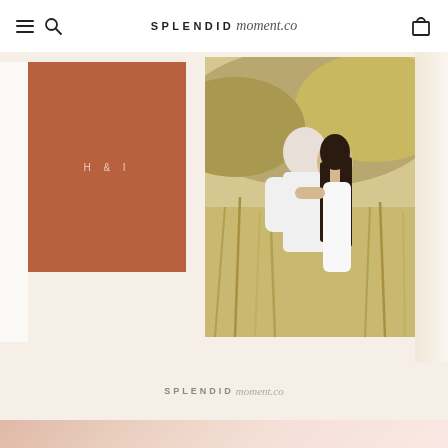SPLENDID moment.co — navigation bar with hamburger menu, search icon, logo, and cart icon
[Figure (photo): Product showcase showing a terracotta/rust colored wedding guest book with monogram 'H & I' on the cover, displayed against a warm cream background]
[Figure (photo): Outdoor engagement photo of a couple embracing in a field of tall golden grasses with rocky hills in the background. Woman has long dark hair, man is in white shirt.]
[Figure (logo): SPLENDID moment.co logo in small text centered at bottom of showcase section]
[Figure (photo): Partial view of a second product section with blush/pink gradient background, cropped at bottom of page]